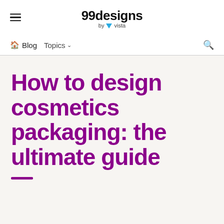99designs by vista
Blog  Topics
How to design cosmetics packaging: the ultimate guide